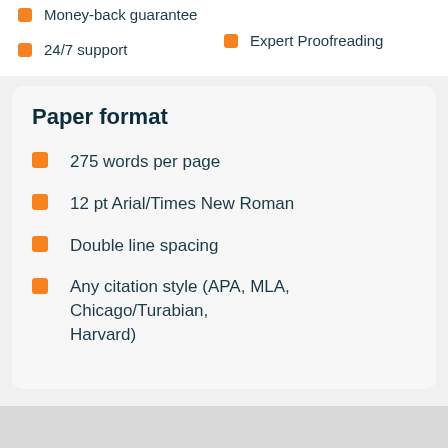Money-back guarantee
24/7 support
Expert Proofreading
Paper format
275 words per page
12 pt Arial/Times New Roman
Double line spacing
Any citation style (APA, MLA, Chicago/Turabian, Harvard)